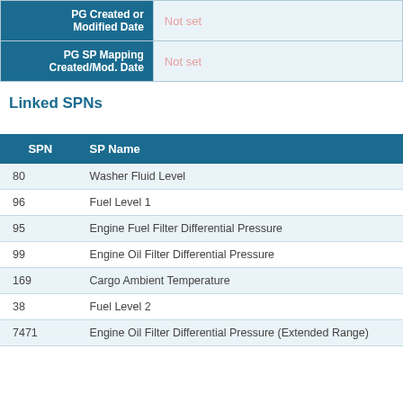|  |  |
| --- | --- |
| PG Created or Modified Date | Not set |
| PG SP Mapping Created/Mod. Date | Not set |
Linked SPNs
| SPN | SP Name |
| --- | --- |
| 80 | Washer Fluid Level |
| 96 | Fuel Level 1 |
| 95 | Engine Fuel Filter Differential Pressure |
| 99 | Engine Oil Filter Differential Pressure |
| 169 | Cargo Ambient Temperature |
| 38 | Fuel Level 2 |
| 7471 | Engine Oil Filter Differential Pressure (Extended Range) |